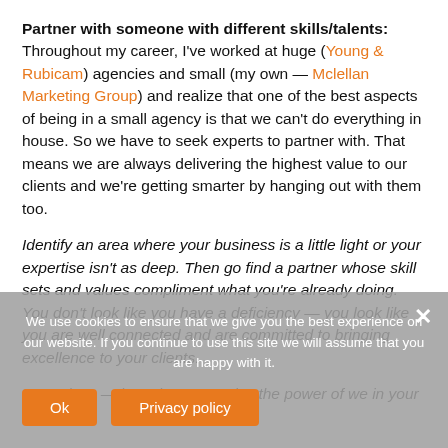Partner with someone with different skills/talents: Throughout my career, I've worked at huge (Young & Rubicam) agencies and small (my own — Mclellan Marketing Group) and realize that one of the best aspects of being in a small agency is that we can't do everything in house. So we have to seek experts to partner with.  That means we are always delivering the highest value to our clients and we're getting smarter by hanging out with them too.
Identify an area where your business is a little light or your expertise isn't as deep. Then go find a partner whose skill sets and values compliment what you're already doing.  You don't look like you have a deficiency — you look like you are well connected and are committed to bringing excellence to your clients.
I'm curious — how do you employ the power of we in your business?
We use cookies to ensure that we give you the best experience on our website. If you continue to use this site we will assume that you are happy with it.